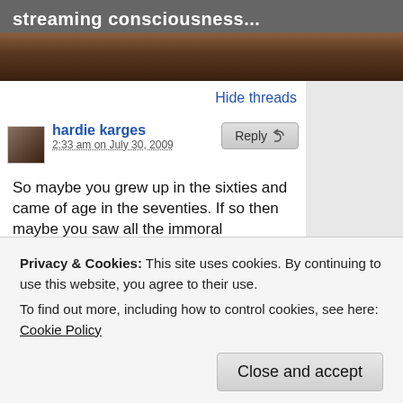streaming consciousness...
Hide threads
hardie karges
2:33 am on July 30, 2009
So maybe you grew up in the sixties and came of age in the seventies. If so then maybe you saw all the immoral destruction and violence that the sixties brought and found it hard to reconcile with all the optimism and hope that you were instilled with in childhood. Maybe you even joined the 'counter-culture' in order to work for those constitutional ideals that seemed so lost under a veil of hypocrisy
Privacy & Cookies: This site uses cookies. By continuing to use this website, you agree to their use.
To find out more, including how to control cookies, see here: Cookie Policy
Close and accept